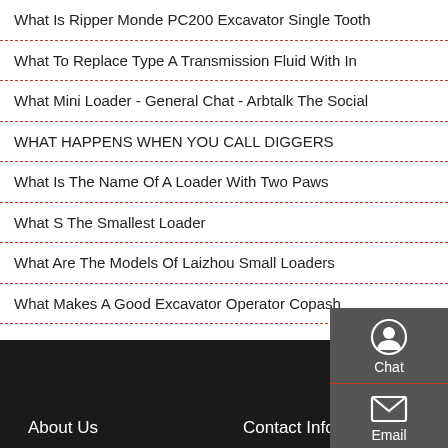What Is Ripper Monde PC200 Excavator Single Tooth
What To Replace Type A Transmission Fluid With In
What Mini Loader - General Chat - Arbtalk The Social
WHAT HAPPENS WHEN YOU CALL DIGGERS
What Is The Name Of A Loader With Two Paws
What S The Smallest Loader
What Are The Models Of Laizhou Small Loaders
What Makes A Good Excavator Operator Copash
[Figure (infographic): Sidebar with Chat, Email, and Contact icons on dark grey background]
About Us    Contact Info